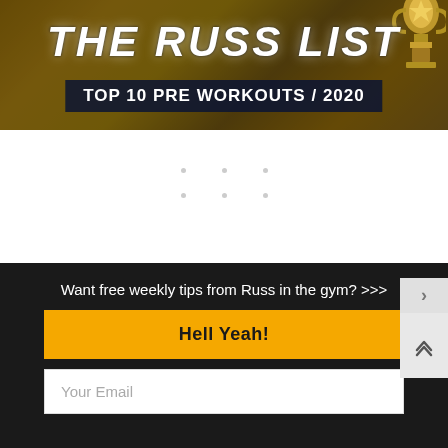[Figure (illustration): Banner with gold/dark background, trophy graphic on right, 'THE RUSS LIST' title in large white italic text, and 'TOP 10 PRE WORKOUTS / 2020' subtitle on dark banner]
[Figure (photo): Dark gym photo showing weight plates and a blue sneaker, with 'FULL ARTICLE' text in top right]
Want free weekly tips from Russ in the gym? >>>
Hell Yeah!
Your Email